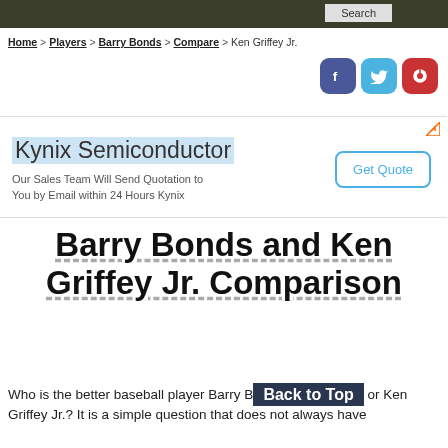Search
Home > Players > Barry Bonds > Compare > Ken Griffey Jr.
[Figure (other): Social sharing buttons: Facebook (blue-purple), Twitter (blue), Pinterest (red)]
[Figure (other): Advertisement: Kynix Semiconductor - Our Sales Team Will Send Quotation to You by Email within 24 Hours Kynix. Get Quote button.]
Barry Bonds and Ken Griffey Jr. Comparison
Who is the better baseball player Barry Bonds or Ken Griffey Jr.? It is a simple question that does not always have